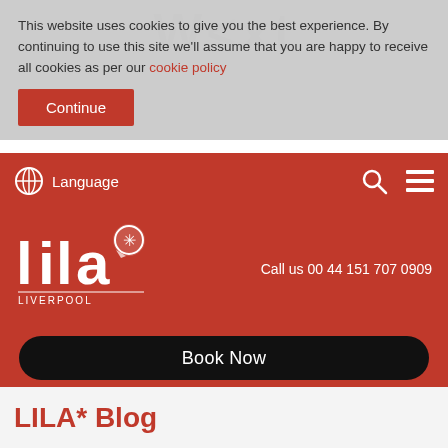This website uses cookies to give you the best experience. By continuing to use this site we'll assume that you are happy to receive all cookies as per our cookie policy
Continue
Language
[Figure (logo): LILA* Liverpool language school logo — white text on red background]
Call us 00 44 151 707 0909
Book Now
LILA* Blog
[Figure (photo): Partial view of a blog post thumbnail image showing a dark surface with small red light]